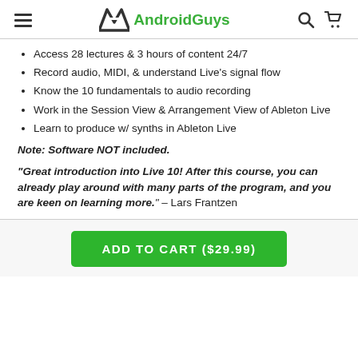AndroidGuys
Access 28 lectures & 3 hours of content 24/7
Record audio, MIDI, & understand Live's signal flow
Know the 10 fundamentals to audio recording
Work in the Session View & Arrangement View of Ableton Live
Learn to produce w/ synths in Ableton Live
Note: Software NOT included.
"Great introduction into Live 10! After this course, you can already play around with many parts of the program, and you are keen on learning more." – Lars Frantzen
ADD TO CART ($29.99)